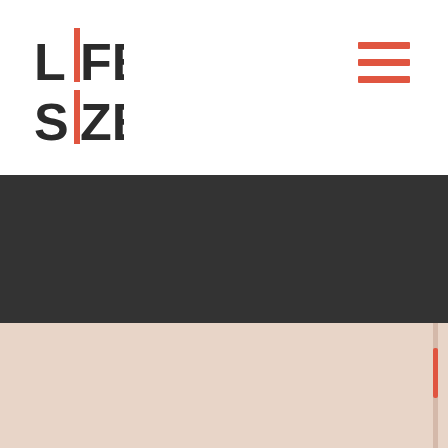[Figure (logo): Lifesize logo with orange vertical bar between L and I, black bold letters LIFE on top and SIZE on bottom]
[Figure (other): Hamburger menu icon with three orange horizontal lines in top right corner]
[Figure (other): Dark gray horizontal band below the header]
[Figure (other): Peach/tan colored section at bottom with a red scrollbar thumb on the right edge]